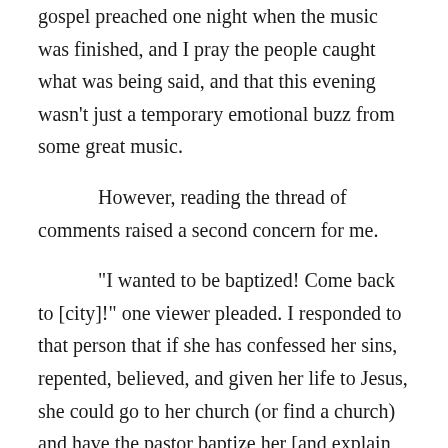gospel preached one night when the music was finished, and I pray the people caught what was being said, and that this evening wasn't just a temporary emotional buzz from some great music.

However, reading the thread of comments raised a second concern for me.

"I wanted to be baptized! Come back to [city]!" one viewer pleaded. I responded to that person that if she has confessed her sins, repented, believed, and given her life to Jesus, she could go to her church (or find a church) and have the pastor baptize her [and explain baptism more thoroughly!]. I was hoping she wasn't just wanting to be baptized at a gathering with somebody famous, so she could post the pictures on